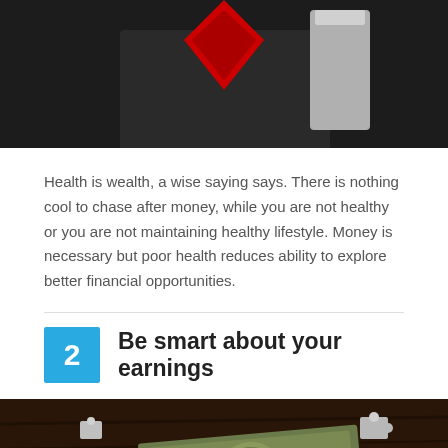[Figure (photo): Dark background image showing a person in a suit with a red heart shape graphic at top]
Health is wealth, a wise saying says. There is nothing cool to chase after money, while you are not healthy or you are not maintaining healthy lifestyle. Money is necessary but poor health reduces ability to explore better financial opportunities.
2 Be smart about your earnings
[Figure (photo): Dark photo of puzzle pieces and money/dollar bills on a wooden surface]